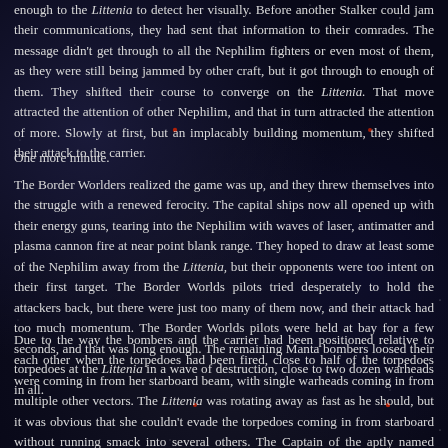enough to the Littenia to detect her visually. Before another Stalker could jam their communications, they had sent that information to their comrades. The message didn't get through to all the Nephilim fighters or even most of them, as they were still being jammed by other craft, but it got through to enough of them. They shifted their course to converge on the Littenia. That move attracted the attention of other Nephilim, and that in turn attracted the attention of more. Slowly at first, but an implacably building momentum, they shifted their attack to the carrier.
One more minute.
The Border Worlders realized the game was up, and they threw themselves into the struggle with a renewed ferocity. The capital ships now all opened up with their energy guns, tearing into the Nephilim with waves of laser, antimatter and plasma cannon fire at near point blank range. They hoped to draw at least some of the Nephilim away from the Littenia, but their opponents were too intent on their first target. The Border Worlds pilots tried desperately to hold the attackers back, but there were just too many of them now, and their attack had too much momentum. The Border Worlds pilots were held at bay for a few seconds, and that was long enough. The remaining Manta bombers loosed their torpedoes at the Littenia in a wave of destruction, close to two dozen warheads in all.
Due to the way the bombers and the carrier had been positioned relative to each other when the torpedoes had been fired, close to half of the torpedoes were coming in from her starboard beam, with single warheads coming in from multiple other vectors. The Littenia was rotating away as fast as he should, but it was obvious that she couldn't evade the torpedoes coming in from starboard without running smack into several others. The Captain of the aptly named destroyer Courage, which had been